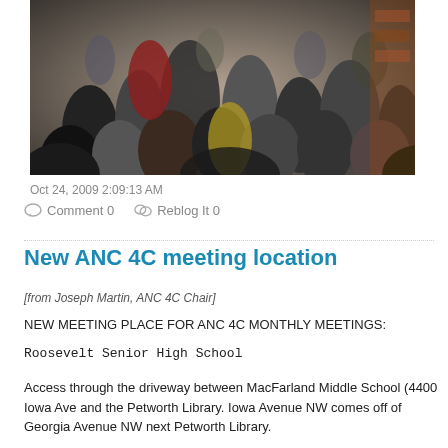[Figure (photo): Crowded indoor meeting or event with many people standing and sitting in a room with brick walls and brick-colored background.]
Oct 24, 2009 2:09:13 AM
Comment 0   Reblog It 0
New ANC 4C meeting location
[from Joseph Martin, ANC 4C Chair]
NEW MEETING PLACE FOR ANC 4C MONTHLY MEETINGS:
Roosevelt Senior High School
Access through the driveway between MacFarland Middle School (4400 Iowa Ave and the Petworth Library. Iowa Avenue NW comes off of Georgia Avenue NW next Petworth Library.